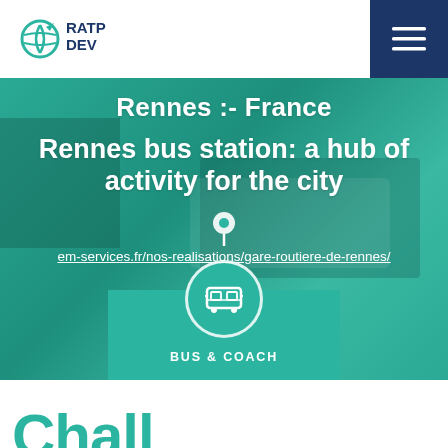RATP DEV
[Figure (screenshot): RATP Dev logo with teal globe/arrow icon and text 'RATP DEV' in dark navy, plus dark blue hamburger menu button top right]
Rennes :- France
Rennes bus station: a hub of activity for the city
em-services.fr/nos-realisations/gare-routiere-de-rennes/
[Figure (infographic): BUS & COACH category badge with bus icon in circle, teal background]
Chall